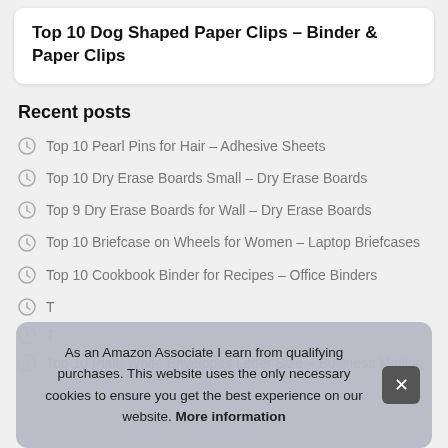Top 10 Dog Shaped Paper Clips – Binder & Paper Clips
Recent posts
Top 10 Pearl Pins for Hair – Adhesive Sheets
Top 10 Dry Erase Boards Small – Dry Erase Boards
Top 9 Dry Erase Boards for Wall – Dry Erase Boards
Top 10 Briefcase on Wheels for Women – Laptop Briefcases
Top 10 Cookbook Binder for Recipes – Office Binders
T… Cab…
T…
Top 10 Plain White Envelopes Letter Size – Business Mailing
As an Amazon Associate I earn from qualifying purchases. This website uses the only necessary cookies to ensure you get the best experience on our website. More information